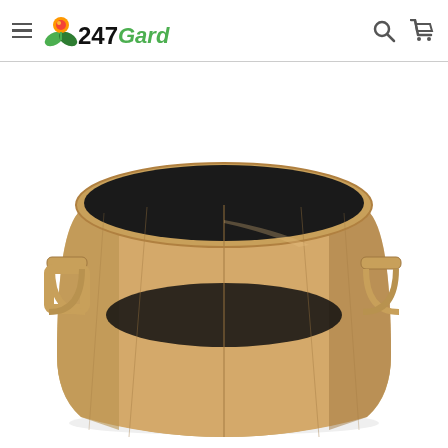247Garden website header with hamburger menu, logo, search and cart icons
[Figure (photo): A tan/beige fabric grow bag (felt planter) viewed from a slightly elevated angle, showing the interior with a dark bottom. The wide, round grow bag has two handles on the sides and is displayed on a white background.]